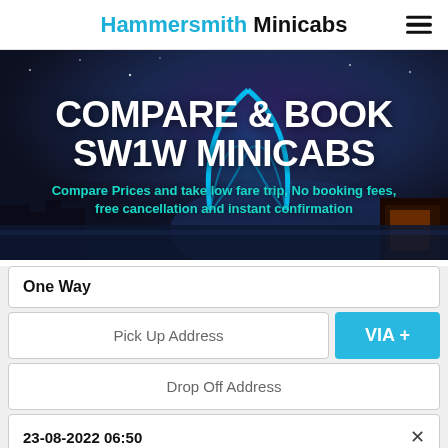Hammersmith Minicabs
[Figure (photo): Night cityscape of London with the London Eye illuminated in blue, used as a hero banner background]
COMPARE & BOOK SW1W MINICABS
Compare Prices and take low fare trip, No booking fees, free cancellation and instant confirmation
One Way
Pick Up Address
VIA +
Drop Off Address
23-08-2022 06:50